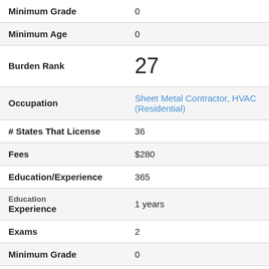| Field | Value |
| --- | --- |
| Minimum Grade | 0 |
| Minimum Age | 0 |
| Burden Rank | 27 |
| Occupation | Sheet Metal Contractor, HVAC (Residential) |
| # States That License | 36 |
| Fees | $280 |
| Education/Experience | 365 |
| Education / Experience | 1 years |
| Exams | 2 |
| Minimum Grade | 0 |